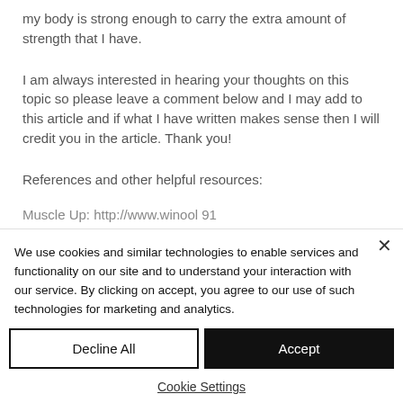my body is strong enough to carry the extra amount of strength that I have.
I am always interested in hearing your thoughts on this topic so please leave a comment below and I may add to this article and if what I have written makes sense then I will credit you in the article. Thank you!
References and other helpful resources:
Muscle Up: http://www.winool 91...
We use cookies and similar technologies to enable services and functionality on our site and to understand your interaction with our service. By clicking on accept, you agree to our use of such technologies for marketing and analytics.
Decline All
Accept
Cookie Settings